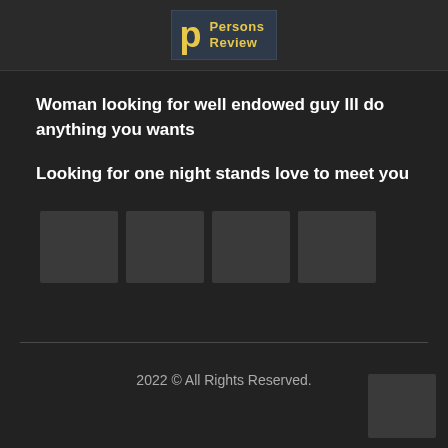[Figure (logo): Persons Review logo — dark blue background with large yellow 'P' and 'Persons Review' text in yellow]
Woman looking for well endowed guy Ill do anything you wants
Looking for one night stands love to meet you
[Figure (photo): Four dark grey placeholder thumbnail boxes in a row]
2022 © All Rights Reserved.